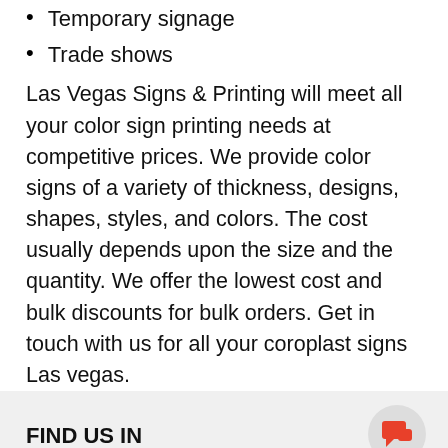Temporary signage
Trade shows
Las Vegas Signs & Printing will meet all your color sign printing needs at competitive prices. We provide color signs of a variety of thickness, designs, shapes, styles, and colors. The cost usually depends upon the size and the quantity. We offer the lowest cost and bulk discounts for bulk orders. Get in touch with us for all your coroplast signs Las vegas.
FIND US IN LAS VEGAS
[Figure (map): Map preview showing Las Vegas location]